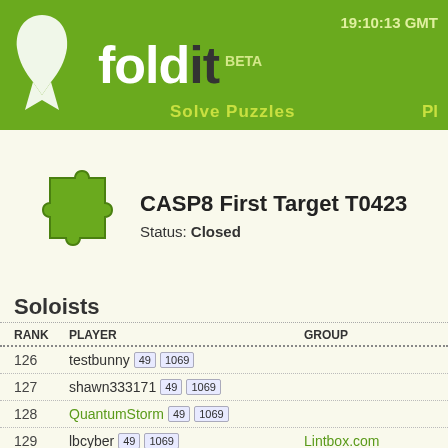[Figure (screenshot): Foldit BETA logo on green header bar with time 19:10:13 GMT and white ribbon icon]
CASP8 First Target T0423
Status: Closed
Soloists
| RANK | PLAYER | GROUP |
| --- | --- | --- |
| 126 | testbunny 49 1069 |  |
| 127 | shawn333171 49 1069 |  |
| 128 | QuantumStorm 49 1069 |  |
| 129 | lbcyber 49 1069 | Lintbox.com |
| 130 | Mardonius 49 1069 |  |
| 131 | pototv 49 1069 |  |